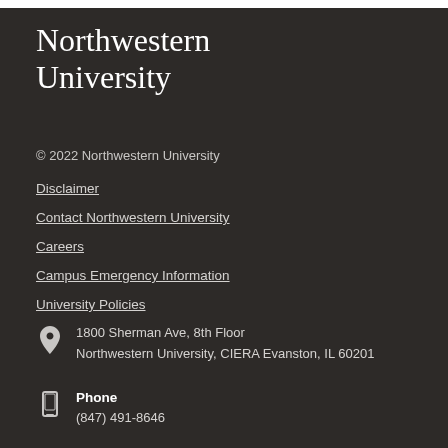Northwestern University
© 2022 Northwestern University
Disclaimer
Contact Northwestern University
Careers
Campus Emergency Information
University Policies
1800 Sherman Ave, 8th Floor
Northwestern University, CIERA Evanston, IL 60201
Phone
(847) 491-8646